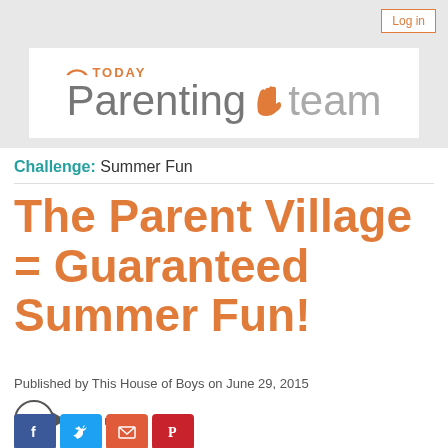[Figure (logo): TODAY Parenting Team logo with rainbow icon and hand icon, on white banner with zigzag edges and gray background]
Challenge: Summer Fun
The Parent Village = Guaranteed Summer Fun!
Published by This House of Boys on June 29, 2015
18  Vote up!
[Figure (illustration): Social media sharing buttons: Facebook, Twitter, Email, Pinterest]